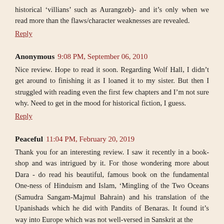historical 'villians' such as Aurangzeb)- and it's only when we read more than the flaws/character weaknesses are revealed.
Reply
Anonymous  9:08 PM, September 06, 2010
Nice review. Hope to read it soon. Regarding Wolf Hall, I didn't get around to finishing it as I loaned it to my sister. But then I struggled with reading even the first few chapters and I'm not sure why. Need to get in the mood for historical fiction, I guess.
Reply
Peaceful  11:04 PM, February 20, 2019
Thank you for an interesting review. I saw it recently in a book-shop and was intrigued by it. For those wondering more about Dara - do read his beautiful, famous book on the fundamental One-ness of Hinduism and Islam, 'Mingling of the Two Oceans (Samudra Sangam-Majmul Bahrain) and his translation of the Upanishads which he did with Pandits of Benaras. It found it's way into Europe which was not well-versed in Sanskrit at the